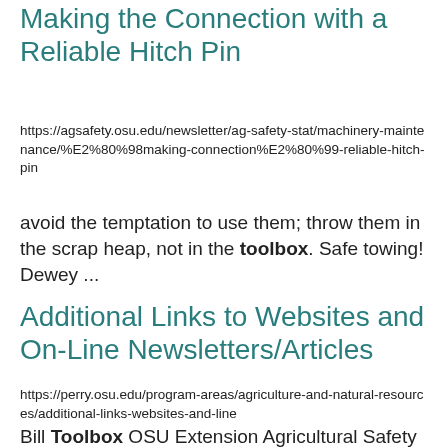Making the Connection with a Reliable Hitch Pin
https://agsafety.osu.edu/newsletter/ag-safety-stat/machinery-maintenance/%E2%80%98making-connection%E2%80%99-reliable-hitch-pin
avoid the temptation to use them; throw them in the scrap heap, not in the toolbox. Safe towing! Dewey ...
Additional Links to Websites and On-Line Newsletters/Articles
https://perry.osu.edu/program-areas/agriculture-and-natural-resources/additional-links-websites-and-line
Bill Toolbox OSU Extension Agricultural Safety & Health OSU South Centers- Your